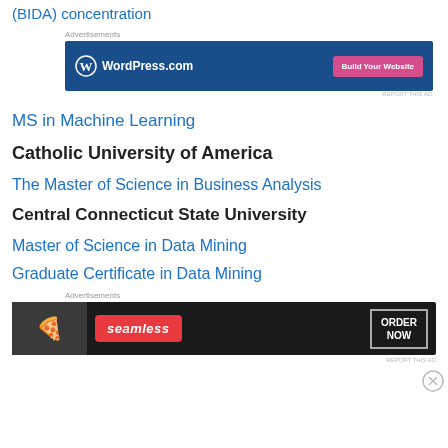(BIDA) concentration
[Figure (other): WordPress.com advertisement banner with blue background, WordPress logo on left and 'Build Your Website' pink button on right]
MS in Machine Learning
Catholic University of America
The Master of Science in Business Analysis
Central Connecticut State University
Master of Science in Data Mining
Graduate Certificate in Data Mining
[Figure (other): Seamless food ordering advertisement banner with pizza image, seamless logo and ORDER NOW button]